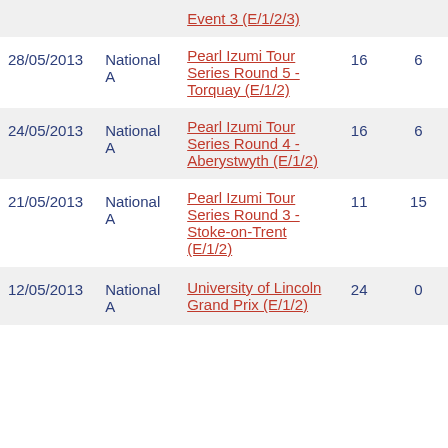| Date | Category | Event |  |  |
| --- | --- | --- | --- | --- |
|  |  | Event 3 (E/1/2/3) |  |  |
| 28/05/2013 | National A | Pearl Izumi Tour Series Round 5 - Torquay (E/1/2) | 16 | 6 |
| 24/05/2013 | National A | Pearl Izumi Tour Series Round 4 - Aberystwyth (E/1/2) | 16 | 6 |
| 21/05/2013 | National A | Pearl Izumi Tour Series Round 3 - Stoke-on-Trent (E/1/2) | 11 | 15 |
| 12/05/2013 | National A | University of Lincoln Grand Prix (E/1/2) | 24 | 0 |